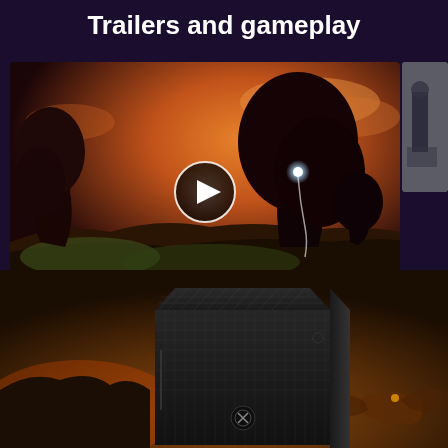Trailers and gameplay
[Figure (screenshot): Video thumbnail showing a fantasy forest scene with glowing trees in orange/red tones, with a play button overlay in the center. A smaller thumbnail is partially visible on the right edge.]
[Figure (photo): Xbox Series X gaming console (black box-shaped console with grid-pattern top) displayed against a dark fantasy game scene background with orange/brown tones and a creature visible at bottom right.]